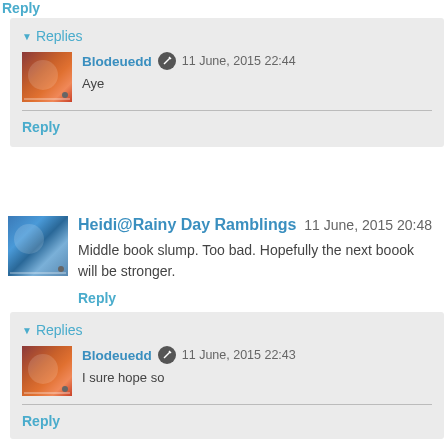Reply
Replies
Blodeuedd  11 June, 2015 22:44
Aye
Reply
Heidi@Rainy Day Ramblings  11 June, 2015 20:48
Middle book slump. Too bad. Hopefully the next boook will be stronger.
Reply
Replies
Blodeuedd  11 June, 2015 22:43
I sure hope so
Reply